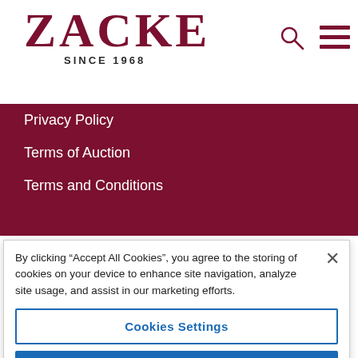[Figure (logo): ZACKE auction house logo with text ZACKE in large serif letters and SINCE 1968 below]
Privacy Policy
Terms of Auction
Terms and Conditions
By clicking “Accept All Cookies”, you agree to the storing of cookies on your device to enhance site navigation, analyze site usage, and assist in our marketing efforts.
Cookies Settings
Reject All